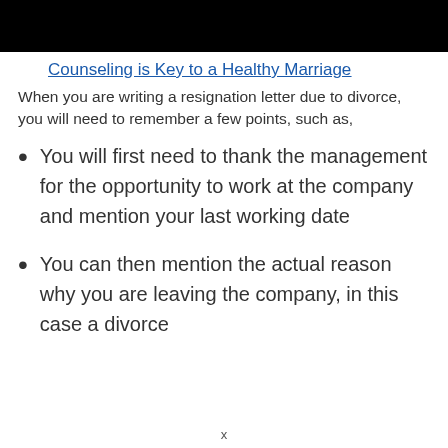[Figure (photo): Black banner/header bar at top of page]
Counseling is Key to a Healthy Marriage
When you are writing a resignation letter due to divorce, you will need to remember a few points, such as,
You will first need to thank the management for the opportunity to work at the company and mention your last working date
You can then mention the actual reason why you are leaving the company, in this case a divorce
x